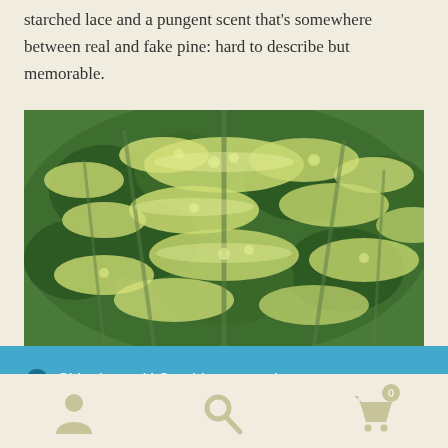starched lace and a pungent scent that's somewhere between real and fake pine: hard to describe but memorable.
[Figure (photo): Close-up photograph of a plant with green leaves edged with ruffled, lacy, cream-colored/yellow-green margins, showing dense foliage clusters.]
ⓘ Shipping to U.S. addresses only
Dismiss